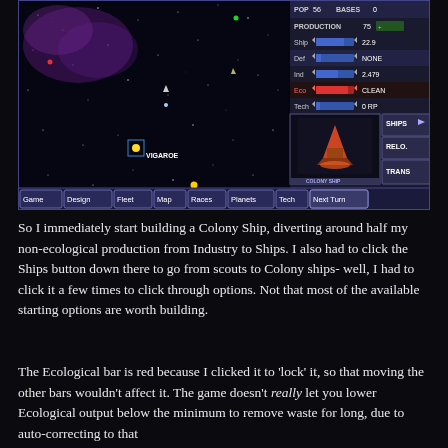[Figure (screenshot): Screenshot of a space strategy game showing a star map with planets labeled VIGAROE and NORDIA, purple nebula, and a game UI panel on the right showing stats: POP 56 BASES 0, PRODUCTION 75, Ship/Def/Ind/Eco/Tech sliders with values 22.9/NONE/2.479/CLEAN/0RP, a Colony Ship image, and buttons for SHIPS, RELO, TRANS. Bottom menu bar shows: Game, Design, Fleet, Map, Races, Planets, Tech, Next Turn.]
So I immediately start building a Colony Ship, diverting around half my non-ecological production from Industry to Ships. I also had to click the Ships button down there to go from scouts to Colony ships- well, I had to click it a few times to click through options. Not that most of the available starting options are worth building.
The Ecological bar is red because I clicked it to 'lock' it, so that moving the other bars wouldn't affect it. The game doesn't really let you lower Ecological output below the minimum to remove waste for long, due to auto-correcting to that